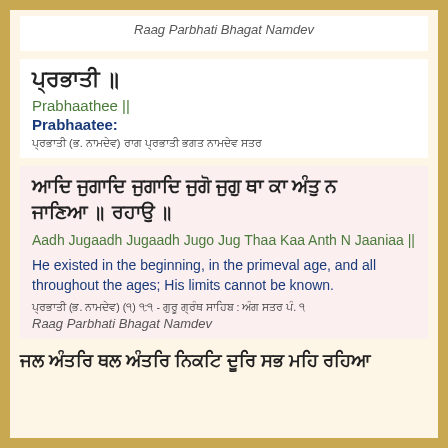Raag Parbhati Bhagat Namdev
ਪ੍ਰਭਾਤੀ ॥
Prabhaathee ||
Prabhaatee:
ਪ੍ਰਭਾਤੀ (ਭ. ਨਾਮਦੇਵ) ਰਾਗ ਪ੍ਰਭਾਤੀ ਭਗਤ ਨਾਮਦੇਵ ਸਤਰ
ਆਦਿ ਜੁਗਾਦਿ ਜੁਗਾਦਿ ਜੁਗੋ ਜੁਗੁ ਥਾ ਕਾ ਅੰਤੁ ਨ ਜਾਣਿਆ ॥
Aadh Jugaadh Jugaadh Jugo Jug Thaa Kaa Anth N Jaaniaa ||
He existed in the beginning, in the primeval age, and all throughout the ages; His limits cannot be known.
ਪ੍ਰਭਾਤੀ (ਭ. ਨਾਮਦੇਵ) (੧) ੧:੧ - ਗੁਰੂ ਗ੍ਰੰਥ ਸਾਹਿਬ : ਅੰਗ ਸਤਰ ਪੰ. ੧
Raag Parbhati Bhagat Namdev
ਜਲ ਅੰਤਰਿ ਥਲ ਅੰਤਰਿ ਨਿਕਟਿ ਦੂਰਿ ਸਭ ਮਹਿ ਰਹਿਆ